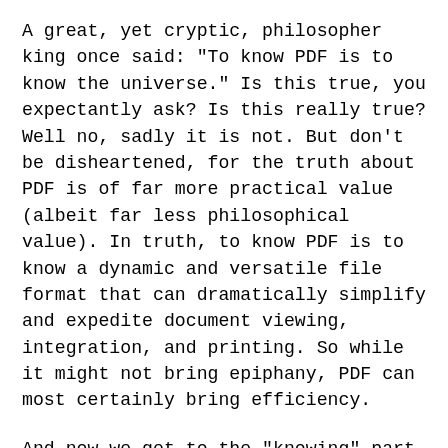A great, yet cryptic, philosopher king once said: "To know PDF is to know the universe." Is this true, you expectantly ask? Is this really true? Well no, sadly it is not. But don't be disheartened, for the truth about PDF is of far more practical value (albeit far less philosophical value). In truth, to know PDF is to know a dynamic and versatile file format that can dramatically simplify and expedite document viewing, integration, and printing. So while it might not bring epiphany, PDF can most certainly bring efficiency.
And now we get to the "knowing" part. First off, the letters P, D, and F